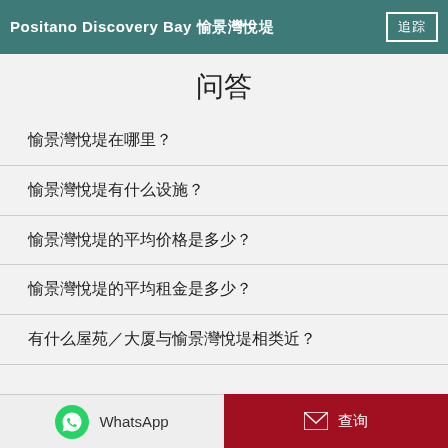Positano Discovery Bay 愉景灣悅堤
问答
愉景灣悅堤在哪里？
愉景灣悅堤有什么设施？
愉景灣悅堤的平均价格是多少？
愉景灣悅堤的平均租金是多少？
有什么屋苑／大厦与愉景灣悅堤相类近？
WhatsApp  查询